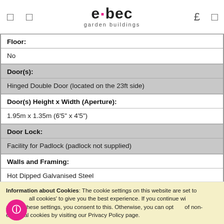elbec garden buildings
| Floor: | No |
| Door(s): | Hinged Double Door (located on the 23ft side) |
| Door(s) Height x Width (Aperture): | 1.95m x 1.35m (6'5" x 4'5") |
| Door Lock: | Facility for Padlock (padlock not supplied) |
| Walls and Framing: | Hot Dipped Galvanised Steel |
| Panel Thickness: |  |
Information about Cookies: The cookie settings on this website are set to 'allow all cookies' to give you the best experience. If you continue without changing these settings, you consent to this. Otherwise, you can opt out of non-essential cookies by visiting our Privacy Policy page.